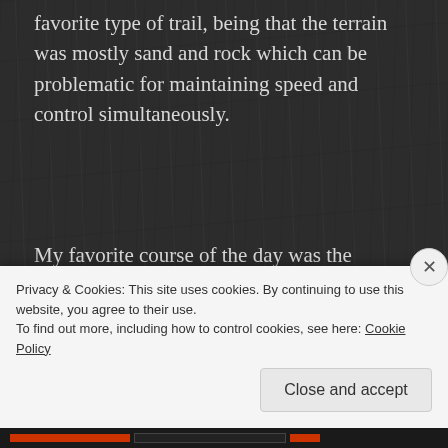favorite type of trail, being that the terrain was mostly sand and rock which can be problematic for maintaining speed and control simultaneously.
My favorite course of the day was the “World Cup” with a starting elevation of 8,950 ft. and a top elevation of 9,860 ft. I prefer single track riding over wide track because it forces you to be in control of even the
Privacy & Cookies: This site uses cookies. By continuing to use this website, you agree to their use.
To find out more, including how to control cookies, see here: Cookie Policy
Close and accept